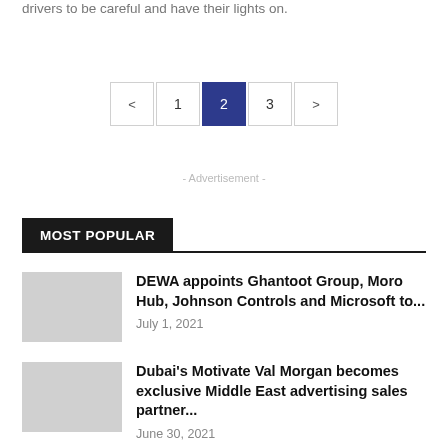drivers to be careful and have their lights on.
< 1 2 3 >
- Advertisement -
MOST POPULAR
DEWA appoints Ghantoot Group, Moro Hub, Johnson Controls and Microsoft to...
July 1, 2021
Dubai's Motivate Val Morgan becomes exclusive Middle East advertising sales partner...
June 30, 2021